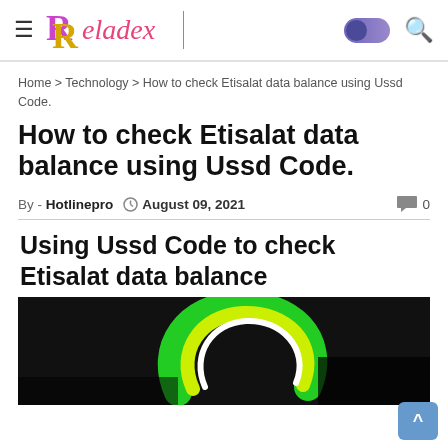Reladex
Home > Technology > How to check Etisalat data balance using Ussd Code.
How to check Etisalat data balance using Ussd Code.
By - Hotlinepro  August 09, 2021  0
Using Ussd Code to check Etisalat data balance
[Figure (photo): Etisalat logo — green and yellow curved swoosh on dark background]